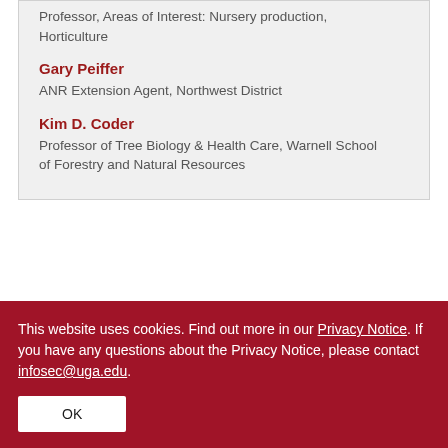Professor, Areas of Interest: Nursery production, Horticulture
Gary Peiffer
ANR Extension Agent, Northwest District
Kim D. Coder
Professor of Tree Biology & Health Care, Warnell School of Forestry and Natural Resources
This website uses cookies. Find out more in our Privacy Notice. If you have any questions about the Privacy Notice, please contact infosec@uga.edu.
OK